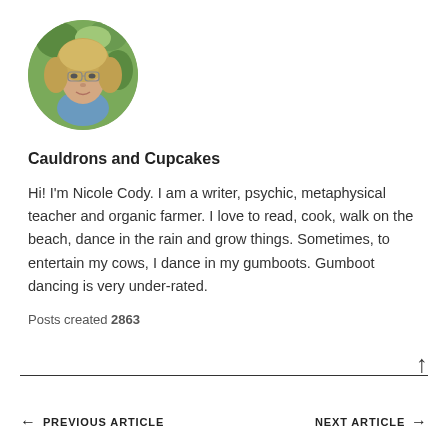[Figure (photo): Circular portrait photo of a woman with curly blonde hair, glasses, wearing blue, with green foliage background]
Cauldrons and Cupcakes
Hi! I'm Nicole Cody. I am a writer, psychic, metaphysical teacher and organic farmer. I love to read, cook, walk on the beach, dance in the rain and grow things. Sometimes, to entertain my cows, I dance in my gumboots. Gumboot dancing is very under-rated.
Posts created 2863
← PREVIOUS ARTICLE   NEXT ARTICLE →